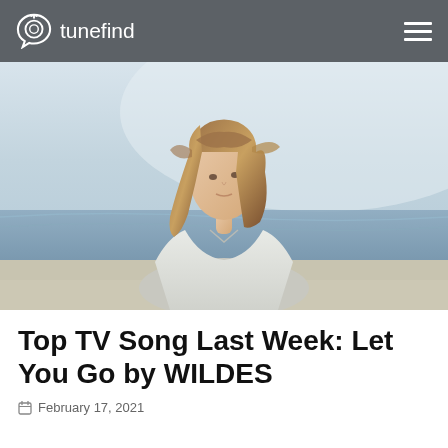tunefind
[Figure (photo): A young woman with long brown hair wearing a light blue/white linen shirt, standing on a beach with ocean waves and hazy sky in the background. She is looking slightly upward with a calm expression.]
Top TV Song Last Week: Let You Go by WILDES
February 17, 2021